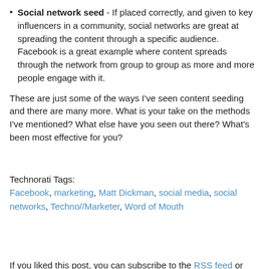Social network seed - If placed correctly, and given to key influencers in a community, social networks are great at spreading the content through a specific audience. Facebook is a great example where content spreads through the network from group to group as more and more people engage with it.
These are just some of the ways I've seen content seeding and there are many more. What is your take on the methods I've mentioned? What else have you seen out there? What's been most effective for you?
Technorati Tags: Facebook, marketing, Matt Dickman, social media, social networks, Techno//Marketer, Word of Mouth
If you liked this post, you can subscribe to the RSS feed or sign up to get updates FREE by email.